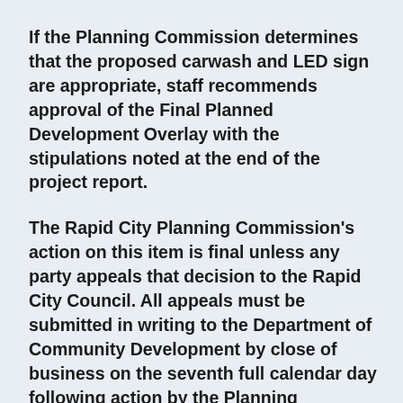If the Planning Commission determines that the proposed carwash and LED sign are appropriate, staff recommends approval of the Final Planned Development Overlay with the stipulations noted at the end of the project report.
The Rapid City Planning Commission's action on this item is final unless any party appeals that decision to the Rapid City Council. All appeals must be submitted in writing to the Department of Community Development by close of business on the seventh full calendar day following action by the Planning Commission.